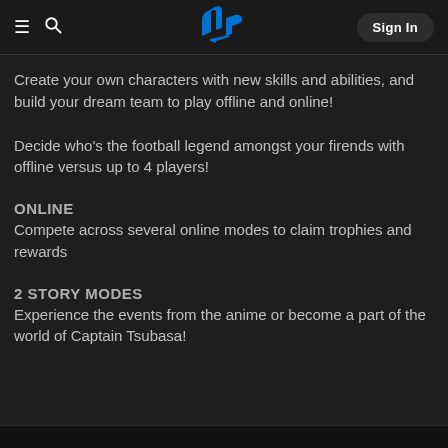≡  🔍  [PlayStation Logo]  Sign In
Create your own characters with new skills and abilities, and build your dream team to play offline and online!
Decide who's the football legend amongst your firends with offline versus up to 4 players!
ONLINE
Compete across several online modes to claim trophies and rewards
2 STORY MODES
Experience the events from the anime or become a part of the world of Captain Tsubasa!